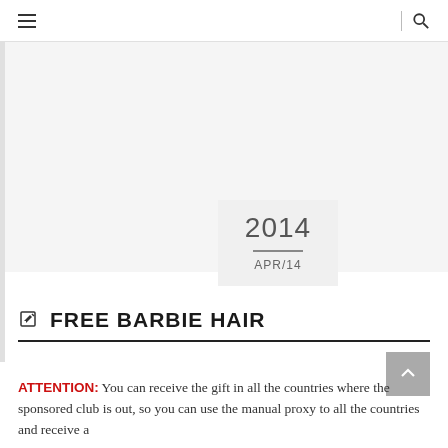≡ | 🔍
[Figure (other): Featured image placeholder area with light gray background]
2014
APR/14
FREE BARBIE HAIR
ATTENTION: You can receive the gift in all the countries where the sponsored club is out, so you can use the manual proxy to all the countries and receive a